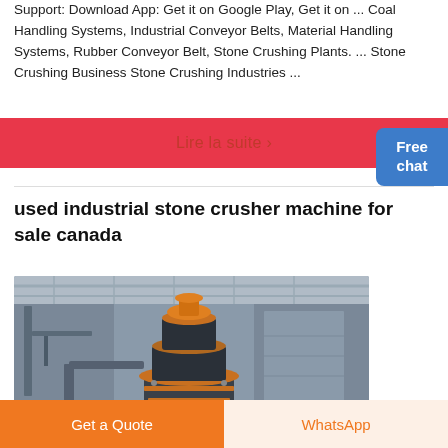Support: Download App: Get it on Google Play, Get it on ... Coal Handling Systems, Industrial Conveyor Belts, Material Handling Systems, Rubber Conveyor Belt, Stone Crushing Plants. ... Stone Crushing Business Stone Crushing Industries ...
Lire la suite ›
[Figure (other): Free chat button widget with a customer service representative illustration, blue background with white text 'Free chat']
used industrial stone crusher machine for sale canada
[Figure (photo): Industrial stone crusher machine in a factory warehouse setting, showing a large cone crusher with orange and black metallic parts, industrial ceiling and structural elements visible in background]
Get a Quote
WhatsApp